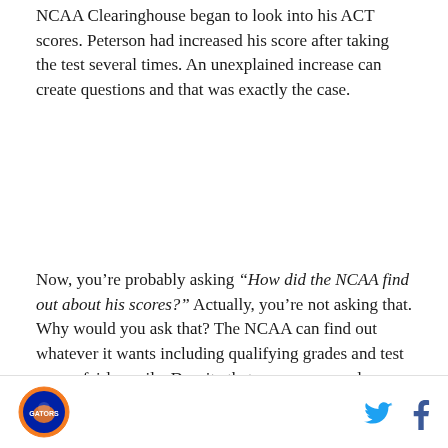NCAA Clearinghouse began to look into his ACT scores. Peterson had increased his score after taking the test several times. An unexplained increase can create questions and that was exactly the case.
Now, you’re probably asking "How did the NCAA find out about his scores?" Actually, you’re not asking that. Why would you ask that? The NCAA can find out whatever it wants including qualifying grades and test scores fairly easily. Despite that, many assumed some school or someone informed the NCAA of the difference in scores. The school in question was, of course, Florida, and the individual was Urban Meyer.
Meyer would deny the claim and Gators fans would
[Figure (logo): Circular sports logo with orange and blue colors]